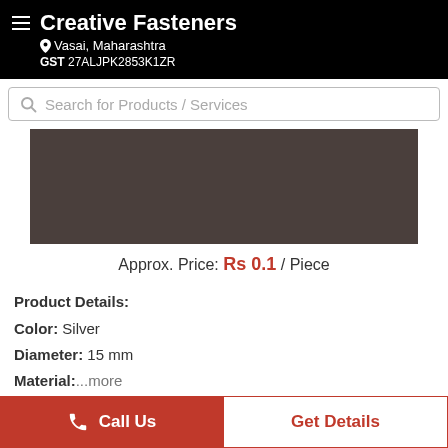Creative Fasteners | Vasai, Maharashtra | GST 27ALJPK2853K1ZR
Search for Products / Services
[Figure (photo): Product image placeholder - dark brownish-grey rectangle representing a fastener product]
Approx. Price: Rs 0.1 / Piece
Product Details:
Color: Silver
Diameter: 15 mm
Material: ...more